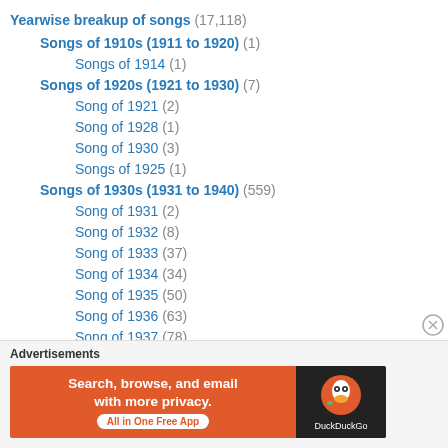Yearwise breakup of songs (17,118)
Songs of 1910s (1911 to 1920) (1)
Songs of 1914 (1)
Songs of 1920s (1921 to 1930) (7)
Song of 1921 (2)
Song of 1928 (1)
Song of 1930 (3)
Songs of 1925 (1)
Songs of 1930s (1931 to 1940) (559)
Song of 1931 (2)
Song of 1932 (8)
Song of 1933 (37)
Song of 1934 (34)
Song of 1935 (50)
Song of 1936 (63)
Song of 1937 (78)
[Figure (other): DuckDuckGo advertisement banner: Search, browse, and email with more privacy. All in One Free App.]